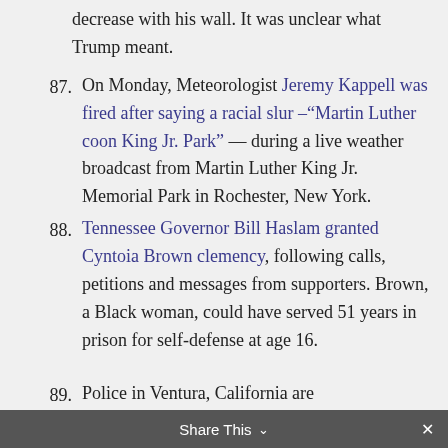decrease with his wall. It was unclear what Trump meant.
87. On Monday, Meteorologist Jeremy Kappell was fired after saying a racial slur –"Martin Luther coon King Jr. Park" — during a live weather broadcast from Martin Luther King Jr. Memorial Park in Rochester, New York.
88. Tennessee Governor Bill Haslam granted Cyntoia Brown clemency, following calls, petitions and messages from supporters. Brown, a Black woman, could have served 51 years in prison for self-defense at age 16.
89. Police in Ventura, California are
Share This ∨  ✕